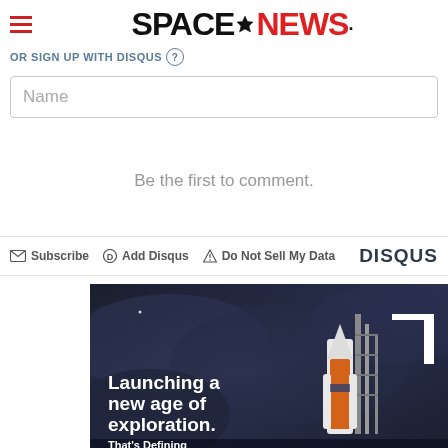SPACENEWS
OR SIGN UP WITH DISQUS (?)
Name
Be the first to comment.
Subscribe  Add Disqus  Do Not Sell My Data  DISQUS
[Figure (photo): Advertisement banner showing a rocket on a launch pad against a dark stormy sky with text 'Launching a new age of exploration. That's Defining...']